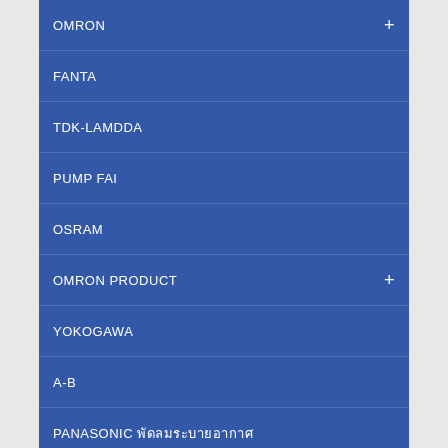OMRON
FANTA
TDK-LAMDDA
PUMP FAI
OSRAM
OMRON PRODUCT
YOKOGAWA
A-B
PANASONIC พัดลมระบายอากาศ